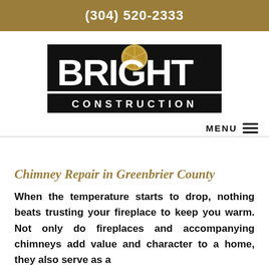(304) 520-2333
[Figure (logo): Bright Construction logo — large black bold lettering 'BRIGHT' with a gold circular emblem between B and R, and a black banner below reading 'CONSTRUCTION' in spaced white capitals]
MENU
Chimney Repair in Greenbrier County
When the temperature starts to drop, nothing beats trusting your fireplace to keep you warm. Not only do fireplaces and accompanying chimneys add value and character to a home, they also serve as a